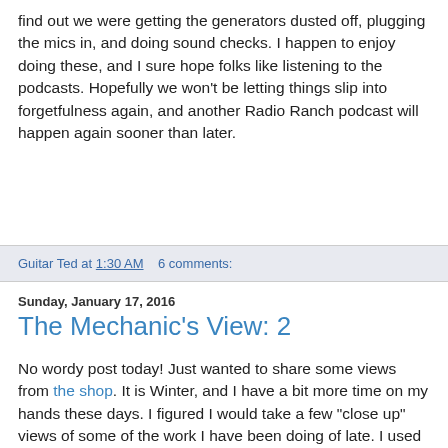find out we were getting the generators dusted off, plugging the mics in, and doing sound checks. I happen to enjoy doing these, and I sure hope folks like listening to the podcasts. Hopefully we won't be letting things slip into forgetfulness again, and another Radio Ranch podcast will happen again sooner than later.
Guitar Ted at 1:30 AM   6 comments:
Sunday, January 17, 2016
The Mechanic's View: 2
No wordy post today! Just wanted to share some views from the shop. It is Winter, and I have a bit more time on my hands these days. I figured I would take a few "close up" views of some of the work I have been doing of late. I used an iPhone 5s this time, and I used an Olympus Tough TG-3